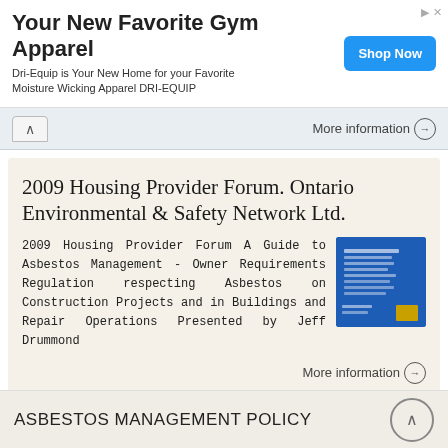[Figure (other): Advertisement banner: 'Your New Favorite Gym Apparel' with Shop Now button]
Your New Favorite Gym Apparel
Dri-Equip is Your New Home for your Favorite Moisture Wicking Apparel DRI-EQUIP
More information →
2009 Housing Provider Forum. Ontario Environmental & Safety Network Ltd.
2009 Housing Provider Forum A Guide to Asbestos Management - Owner Requirements Regulation respecting Asbestos on Construction Projects and in Buildings and Repair Operations Presented by Jeff Drummond
[Figure (other): Thumbnail image of blue document cover for 2009 Housing Provider Forum]
More information →
ASBESTOS MANAGEMENT POLICY